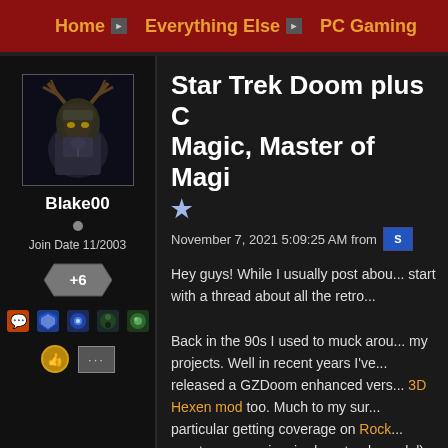Home > Everything Else > PC Gaming
[Figure (photo): User avatar showing an armored fantasy character with antlers/horns, dark background]
Blake00
Join Date 11/2003
+6
Star Trek Doom plus O... Magic, Master of Magi...
November 7, 2021 5:09:25 AM from
Hey guys! While I usually post abou... start with a thread about all the retro...

Back in the 90s I used to muck arou... my projects. Well in recent years I've... released a GZDoom enhanced vers... 3D Hexen mod too. Much to my sur... particular getting coverage on Rock... great response inspired me to also ... lol).